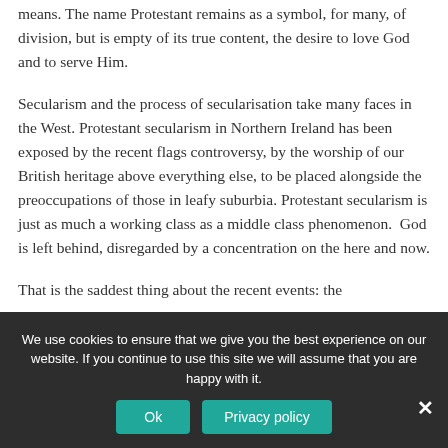means. The name Protestant remains as a symbol, for many, of division, but is empty of its true content, the desire to love God and to serve Him.
Secularism and the process of secularisation take many faces in the West. Protestant secularism in Northern Ireland has been exposed by the recent flags controversy, by the worship of our British heritage above everything else, to be placed alongside the preoccupations of those in leafy suburbia. Protestant secularism is just as much a working class as a middle class phenomenon.  God is left behind, disregarded by a concentration on the here and now.
That is the saddest thing about the recent events: the
We use cookies to ensure that we give you the best experience on our website. If you continue to use this site we will assume that you are happy with it.